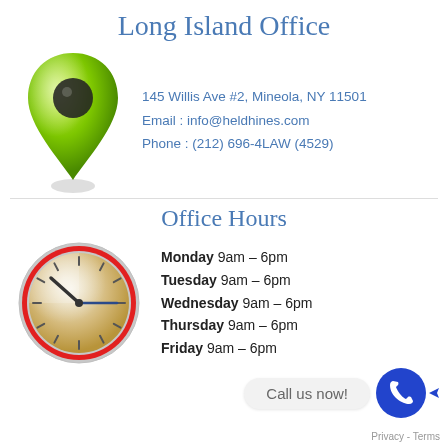Long Island Office
[Figure (illustration): Green map pin / location marker icon]
145 Willis Ave #2, Mineola, NY 11501
Email : info@heldhines.com
Phone : (212) 696-4LAW (4529)
Office Hours
[Figure (illustration): Analog clock icon with tan/gold face and red rim]
Monday 9am – 6pm
Tuesday 9am – 6pm
Wednesday 9am – 6pm
Thursday 9am – 6pm
Friday 9am – 6pm
Call us now!
Privacy - Terms